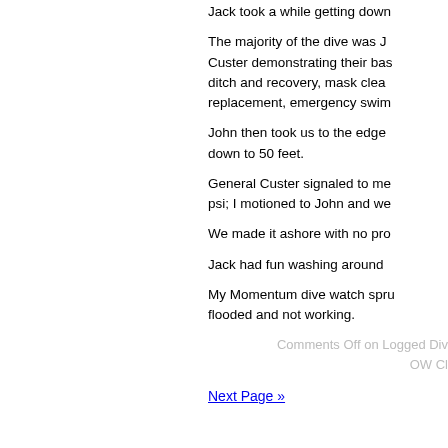Jack took a while getting down
The majority of the dive was J Custer demonstrating their bas ditch and recovery, mask clea replacement, emergency swim
John then took us to the edge down to 50 feet.
General Custer signaled to me psi; I motioned to John and we
We made it ashore with no pro
Jack had fun washing around
My Momentum dive watch spru flooded and not working.
Comments Off on Logged Div OW Cl
Next Page »